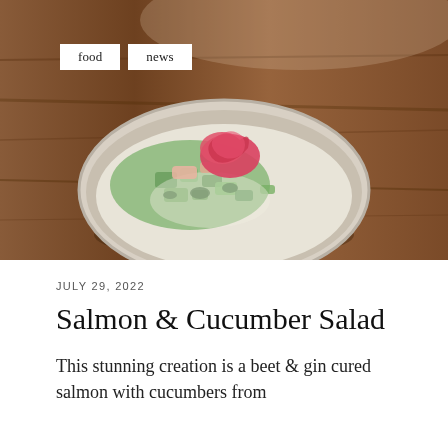[Figure (photo): A white bowl containing a salmon and cucumber salad topped with pickled red beet, sitting on a wooden table surface. Two white tag labels reading 'food' and 'news' are overlaid on the upper left of the image.]
food
news
JULY 29, 2022
Salmon & Cucumber Salad
This stunning creation is a beet & gin cured salmon with cucumbers from